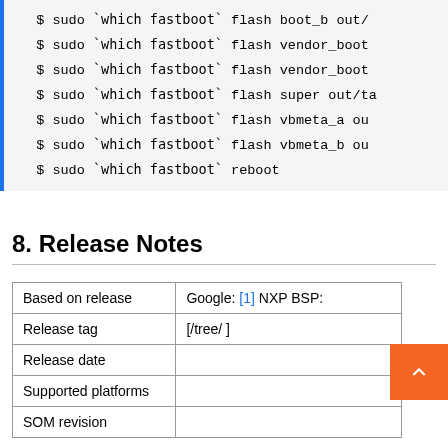$ sudo `which fastboot` flash boot_b out/
$ sudo `which fastboot` flash vendor_boot
$ sudo `which fastboot` flash vendor_boot
$ sudo `which fastboot` flash super out/ta
$ sudo `which fastboot` flash vbmeta_a ou
$ sudo `which fastboot` flash vbmeta_b ou
$ sudo `which fastboot` reboot
8. Release Notes
| Based on release | Google: [1] NXP BSP: |
| Release tag | [/tree/ ] |
| Release date |  |
| Supported platforms |  |
| SOM revision |  |